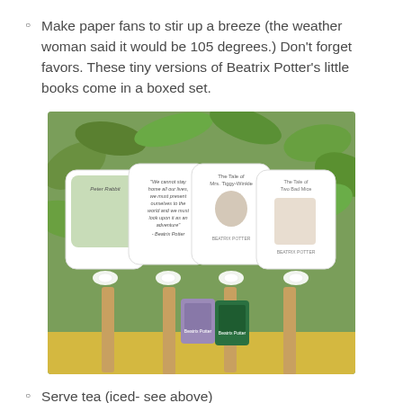Make paper fans to stir up a breeze (the weather woman said it would be 105 degrees.) Don't forget favors. These tiny versions of Beatrix Potter's little books come in a boxed set.
[Figure (photo): Four paper fans with Beatrix Potter illustrations on white paddle-shaped cards with white ribbon bows and wooden sticks, displayed on green leaves with two small Beatrix Potter books in the foreground.]
Serve tea (iced- see above)